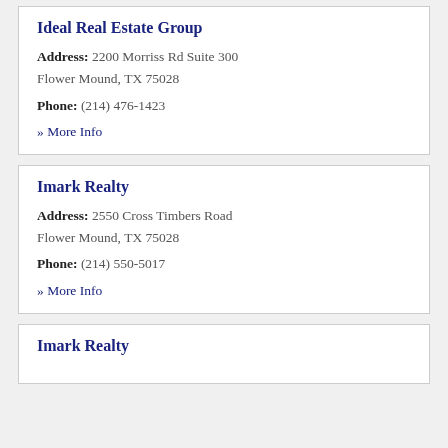Ideal Real Estate Group
Address: 2200 Morriss Rd Suite 300 Flower Mound, TX 75028
Phone: (214) 476-1423
» More Info
Imark Realty
Address: 2550 Cross Timbers Road Flower Mound, TX 75028
Phone: (214) 550-5017
» More Info
Imark Realty